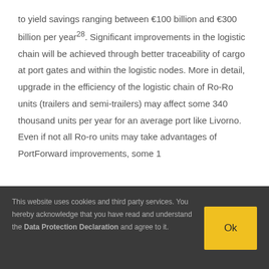to yield savings ranging between €100 billion and €300 billion per year28. Significant improvements in the logistic chain will be achieved through better traceability of cargo at port gates and within the logistic nodes. More in detail, upgrade in the efficiency of the logistic chain of Ro-Ro units (trailers and semi-trailers) may affect some 340 thousand units per year for an average port like Livorno. Even if not all Ro-ro units may take advantages of PortForward improvements, some 1
This website uses cookies and third party services. You hereby acknowledge that you have read and understand the Data Protection Declaration and agree to it.